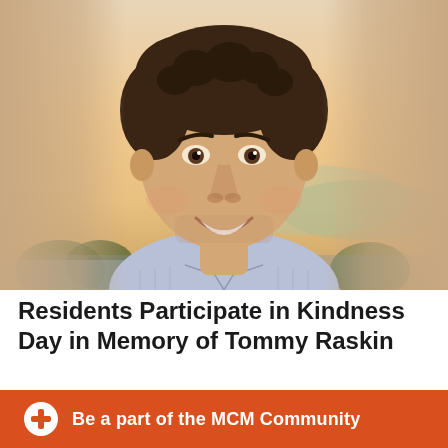[Figure (photo): Headshot of a smiling young man with curly hair, wearing a light blue striped shirt, outdoor background with warm sunset sky and trees]
Residents Participate in Kindness Day in Memory of Tommy Raskin
Be a part of the MCM Community